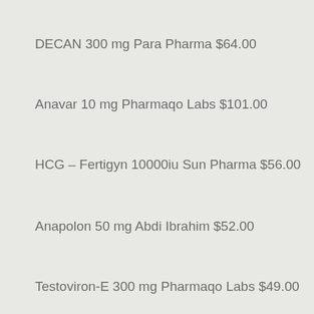DECAN 300 mg Para Pharma $64.00
Anavar 10 mg Pharmaqo Labs $101.00
HCG – Fertigyn 10000iu Sun Pharma $56.00
Anapolon 50 mg Abdi Ibrahim $52.00
Testoviron-E 300 mg Pharmaqo Labs $49.00